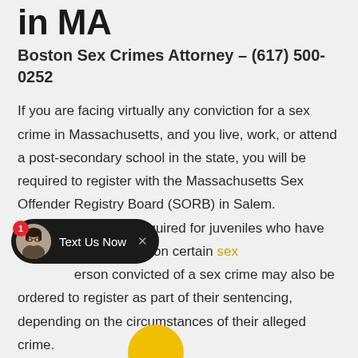in MA
Boston Sex Crimes Attorney – (617) 500-0252
If you are facing virtually any conviction for a sex crime in Massachusetts, and you live, work, or attend a post-secondary school in the state, you will be required to register with the Massachusetts Sex Offender Registry Board (SORB) in Salem. Registration is also required for juveniles who have been adjudicated delinquent on certain sex offenses. Any person convicted of a sex crime may also be ordered to register as part of their sentencing, depending on the circumstances of their alleged crime.
[Figure (other): Chat widget overlay with avatar photo of a woman with glasses, red notification badge showing '1', dark pill-shaped background with 'Text Us Now' label and X close button]